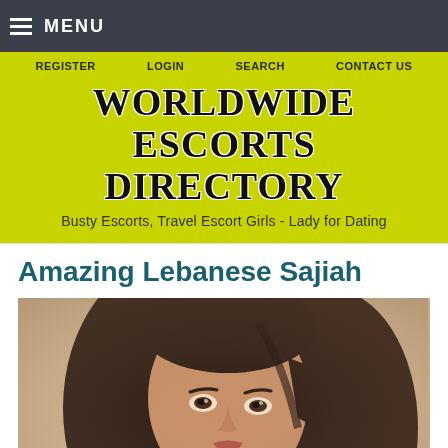MENU
REGISTER   LOGIN   SEARCH   CONTACT US
WORLDWIDE ESCORTS DIRECTORY
Busty Escorts, Travel Escort Girls - Lady for Dating
Amazing Lebanese Sajiah
[Figure (photo): Close-up photo of a young woman with long dark hair, looking toward the camera, with a warm beige/cream background.]